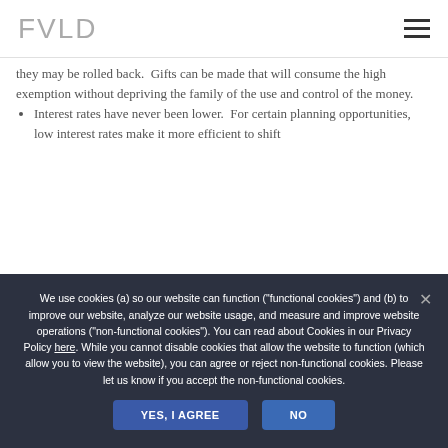FVLD
they may be rolled back.  Gifts can be made that will consume the high exemption without depriving the family of the use and control of the money.
Interest rates have never been lower.  For certain planning opportunities, low interest rates make it more efficient to shift
We use cookies (a) so our website can function ("functional cookies") and (b) to improve our website, analyze our website usage, and measure and improve website operations ("non-functional cookies"). You can read about Cookies in our Privacy Policy here. While you cannot disable cookies that allow the website to function (which allow you to view the website), you can agree or reject non-functional cookies. Please let us know if you accept the non-functional cookies.